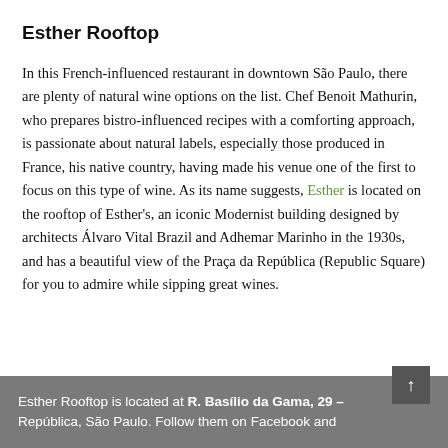Esther Rooftop
In this French-influenced restaurant in downtown São Paulo, there are plenty of natural wine options on the list. Chef Benoit Mathurin, who prepares bistro-influenced recipes with a comforting approach, is passionate about natural labels, especially those produced in France, his native country, having made his venue one of the first to focus on this type of wine. As its name suggests, Esther is located on the rooftop of Esther's, an iconic Modernist building designed by architects Álvaro Vital Brazil and Adhemar Marinho in the 1930s, and has a beautiful view of the Praça da República (Republic Square) for you to admire while sipping great wines.
Esther Rooftop is located at R. Basílio da Gama, 29 – República, São Paulo. Follow them on Facebook and...